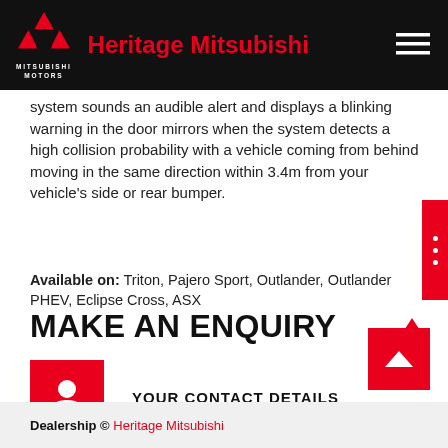Heritage Mitsubishi
system sounds an audible alert and displays a blinking warning in the door mirrors when the system detects a high collision probability with a vehicle coming from behind moving in the same direction within 3.4m from your vehicle's side or rear bumper.
Available on: Triton, Pajero Sport, Outlander, Outlander PHEV, Eclipse Cross, ASX
MAKE AN ENQUIRY
YOUR CONTACT DETAILS
Dealership © Heritage Mitsubishi